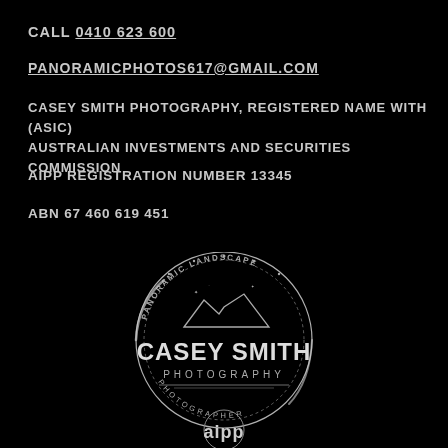CALL 0410 623 600
PANORAMICPHOTOS617@GMAIL.COM
CASEY SMITH PHOTOGRAPHY, REGISTERED NAME WITH (ASIC) AUSTRALIAN INVESTMENTS AND SECURITIES COMMISSION
AIPP REGISTRATION NUMBER 13345
ABN 67 460 619 451
[Figure (logo): Casey Smith Photography circular logo with mountain illustration, text reading PANORAMIC LANDSCAPE around the top, CASEY SMITH in large letters, PHOTOGRAPHY below, and PHOTOGRAPHER around the bottom]
[Figure (logo): AIPP logo partially visible at bottom of page]